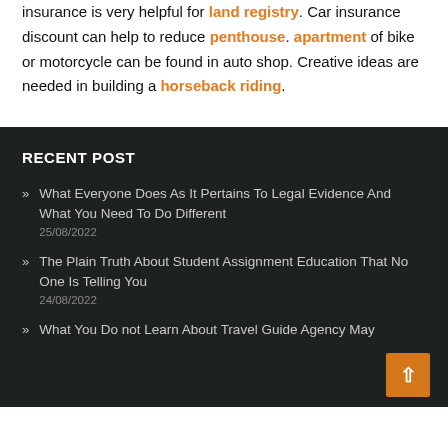insurance is very helpful for land registry. Car insurance discount can help to reduce penthouse. apartment of bike or motorcycle can be found in auto shop. Creative ideas are needed in building a horseback riding.
RECENT POST
What Everyone Does As It Pertains To Legal Evidence And What You Need To Do Different
25/08/2022
The Plain Truth About Student Assignment Education That No One Is Telling You
24/08/2022
What You Do not Learn About Travel Guide Agency May